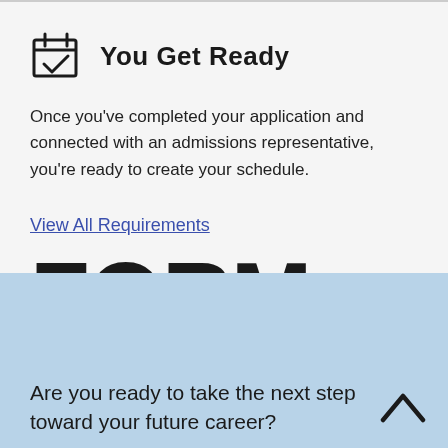You Get Ready
Once you've completed your application and connected with an admissions representative, you're ready to create your schedule.
View All Requirements
FORM
Are you ready to take the next step toward your future career?